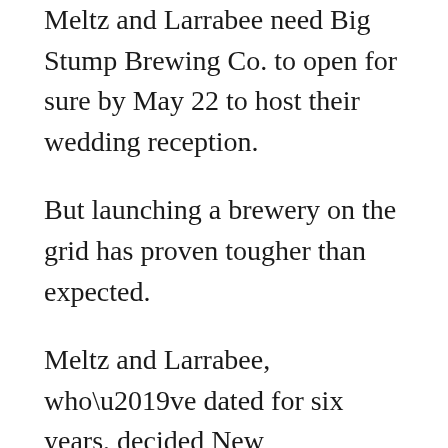Meltz and Larrabee need Big Stump Brewing Co. to open for sure by May 22 to host their wedding reception.
But launching a brewery on the grid has proven tougher than expected.
Meltz and Larrabee, who’ve dated for six years, decided New Year’s Day 2014 to open their brewery. Living in San Francisco at the time, where Meltz worked for Gap’s corporate offices and Larrabee was an attorney who brewed on the side, they soon relocated to